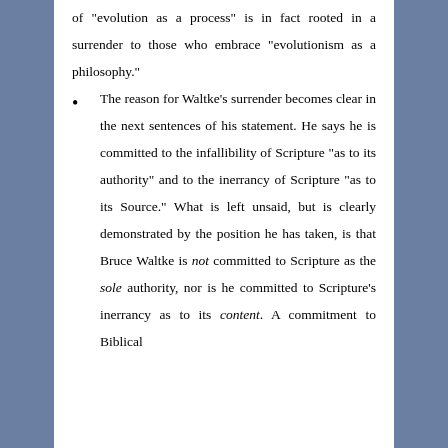of "evolution as a process" is in fact rooted in a surrender to those who embrace "evolutionism as a philosophy."
The reason for Waltke's surrender becomes clear in the next sentences of his statement. He says he is committed to the infallibility of Scripture "as to its authority" and to the inerrancy of Scripture "as to its Source." What is left unsaid, but is clearly demonstrated by the position he has taken, is that Bruce Waltke is not committed to Scripture as the sole authority, nor is he committed to Scripture's inerrancy as to its content. A commitment to Biblical